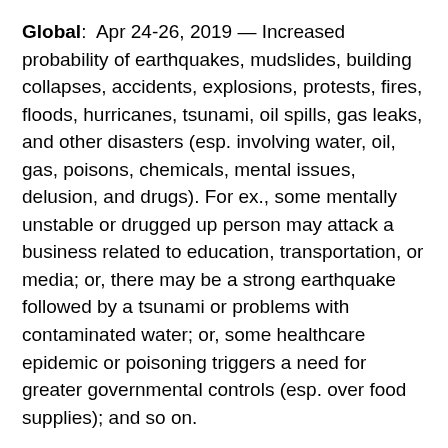Global:  Apr 24-26, 2019 — Increased probability of earthquakes, mudslides, building collapses, accidents, explosions, protests, fires, floods, hurricanes, tsunami, oil spills, gas leaks, and other disasters (esp. involving water, oil, gas, poisons, chemicals, mental issues, delusion, and drugs). For ex., some mentally unstable or drugged up person may attack a business related to education, transportation, or media; or, there may be a strong earthquake followed by a tsunami or problems with contaminated water; or, some healthcare epidemic or poisoning triggers a need for greater governmental controls (esp. over food supplies); and so on.
Updated Global/OIL: Jun 8-22 (+- several days; esp. 10, 14, 18, and 19), 2019 — Increased probability of earthquakes, mudslides, building collapses, accidents,